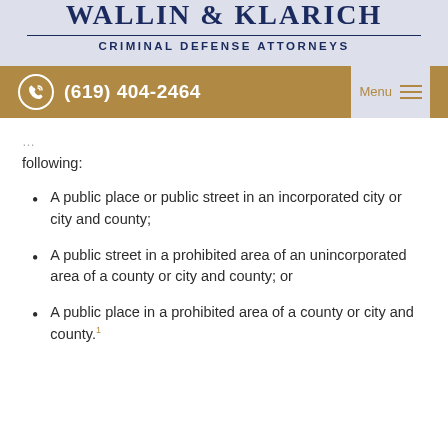WALLIN & KLARICH
CRIMINAL DEFENSE ATTORNEYS
(619) 404-2464 | Menu
… following:
A public place or public street in an incorporated city or city and county;
A public street in a prohibited area of an unincorporated area of a county or city and county; or
A public place in a prohibited area of a county or city and county.¹